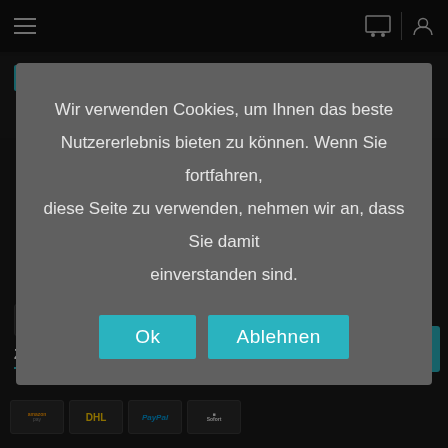Navigation bar with hamburger menu, cart icon, and user icon
info@mxshop-ihle.de
+49 (0) 3735 6092184
Wir verwenden Cookies, um Ihnen das beste Nutzererlebnis bieten zu können. Wenn Sie fortfahren, diese Seite zu verwenden, nehmen wir an, dass Sie damit einverstanden sind.
Ok
Ablehnen
ZAHLUNG
[Figure (logo): Payment method logos: amazon pay, DHL, PayPal, Sofort]